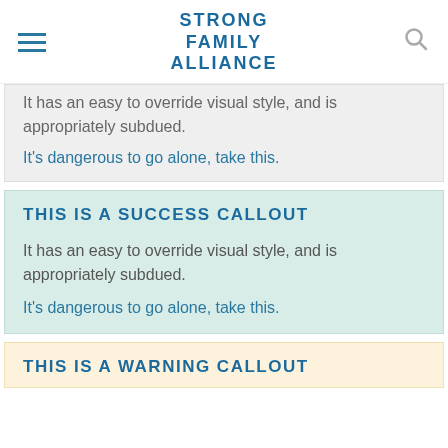STRONG FAMILY ALLIANCE
It has an easy to override visual style, and is appropriately subdued.
It's dangerous to go alone, take this.
THIS IS A SUCCESS CALLOUT
It has an easy to override visual style, and is appropriately subdued.
It's dangerous to go alone, take this.
THIS IS A WARNING CALLOUT